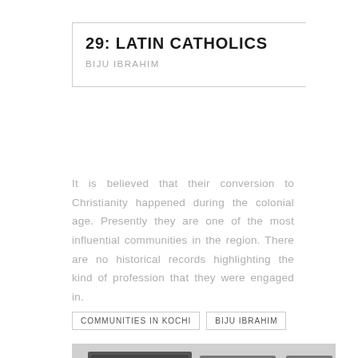29: LATIN CATHOLICS
BIJU IBRAHIM
It is believed that their conversion to Christianity happened during the colonial age. Presently they are one of the most influential communities in the region. There are no historical records highlighting the kind of profession that they were engaged in.
COMMUNITIES IN KOCHI
BIJU IBRAHIM
[Figure (photo): Black and white photograph of an elderly man standing in front of framed portrait photographs on a wall]